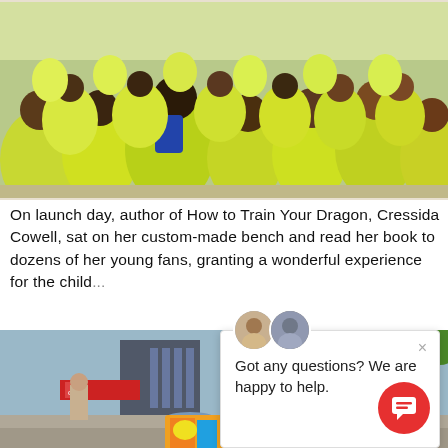[Figure (photo): Children wearing yellow high-visibility vests sitting outdoors, viewed from behind, attending an event.]
On launch day, author of How to Train Your Dragon, Cressida Cowell, sat on her custom-made bench and read her book to dozens of her young fans, granting a wonderful experience for the child...
[Figure (photo): Outdoor scene showing a woman with a mascot character and colorful book, with urban buildings in background.]
Got any questions? We are happy to help.